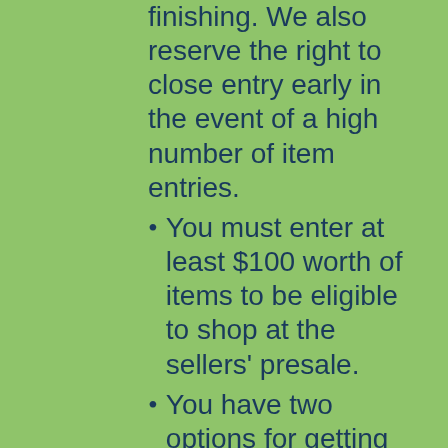finishing. We also reserve the right to close entry early in the event of a high number of item entries.
You must enter at least $100 worth of items to be eligible to shop at the sellers' presale.
You have two options for getting paid- check or PayPal. The PayPal method we use does NOT charge you a fee on your end, but it does take a couple days to process, so checks and PayPal tend to arrive in similar time frames.
That's it! You leave the hard work of selling your items to us! (Though, if you want to